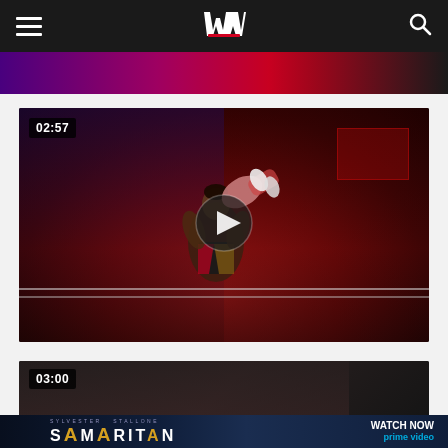WWE navigation bar with hamburger menu, WWE logo, and search icon
[Figure (screenshot): Partial view of a WWE event image at top, showing purple and red lighting]
[Figure (screenshot): WWE video thumbnail showing two wrestlers, one lifting the other in the ring with a red-lit crowd. Duration badge shows 02:57. Play button overlay in center.]
[Figure (screenshot): Partial video thumbnail showing 03:00 duration badge, partially visible wrestler]
[Figure (screenshot): Advertisement banner for Sylvester Stallone SAMARITAN movie, with WATCH NOW on Prime Video call to action]